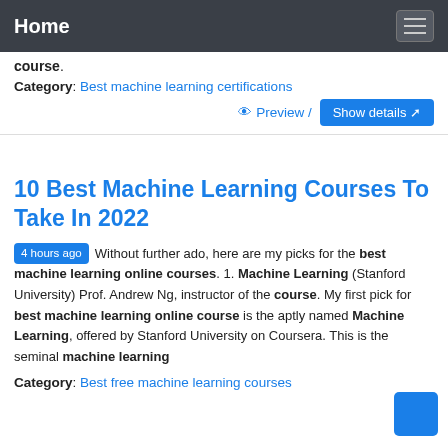Home
course.
Category: Best machine learning certifications
Preview / Show details
10 Best Machine Learning Courses To Take In 2022
4 hours ago Without further ado, here are my picks for the best machine learning online courses. 1. Machine Learning (Stanford University) Prof. Andrew Ng, instructor of the course. My first pick for best machine learning online course is the aptly named Machine Learning, offered by Stanford University on Coursera. This is the seminal machine learning
Category: Best free machine learning courses